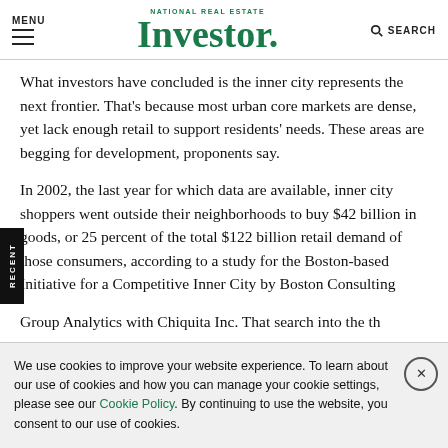MENU | NATIONAL REAL ESTATE Investor. | SEARCH
What investors have concluded is the inner city represents the next frontier. That's because most urban core markets are dense, yet lack enough retail to support residents' needs. These areas are begging for development, proponents say.
In 2002, the last year for which data are available, inner city shoppers went outside their neighborhoods to buy $42 billion in goods, or 25 percent of the total $122 billion retail demand of those consumers, according to a study for the Boston-based Initiative for a Competitive Inner City by Boston Consulting Group Analytics with Chiquita Inc. That search...
We use cookies to improve your website experience. To learn about our use of cookies and how you can manage your cookie settings, please see our Cookie Policy. By continuing to use the website, you consent to our use of cookies.